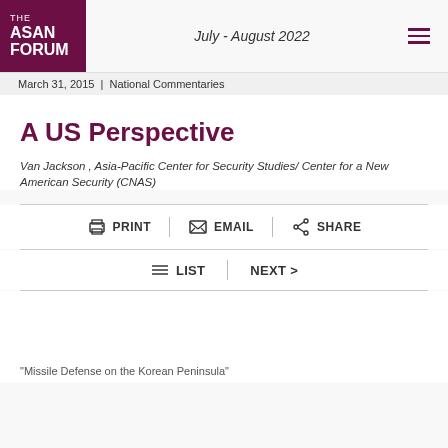THE ASAN FORUM | July - August 2022
March 31, 2015 | National Commentaries
A US Perspective
Van Jackson , Asia-Pacific Center for Security Studies/ Center for a New American Security (CNAS)
PRINT | EMAIL | SHARE
LIST | NEXT >
"Missile Defense on the Korean Peninsula"